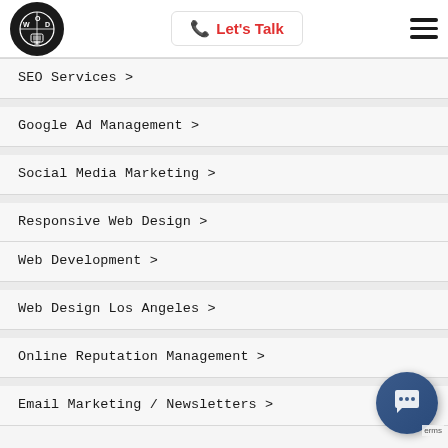[Figure (logo): Circular logo with WOD letters and a monitor icon on dark background]
📞 Let's Talk
[Figure (other): Hamburger menu icon with three horizontal lines]
SEO Services >
Google Ad Management >
Social Media Marketing >
Responsive Web Design >
Web Development >
Web Design Los Angeles >
Online Reputation Management >
Email Marketing / Newsletters >
[Figure (other): Chat widget button, circular dark blue button with chat icon]